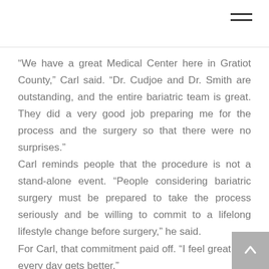[Figure (other): Hamburger menu icon (three horizontal lines) in top right corner]
“We have a great Medical Center here in Gratiot County,” Carl said. “Dr. Cudjoe and Dr. Smith are outstanding, and the entire bariatric team is great. They did a very good job preparing me for the process and the surgery so that there were no surprises.”
Carl reminds people that the procedure is not a stand-alone event. “People considering bariatric surgery must be prepared to take the process seriously and be willing to commit to a lifelong lifestyle change before surgery,” he said.
For Carl, that commitment paid off. “I feel great and every day gets better.”